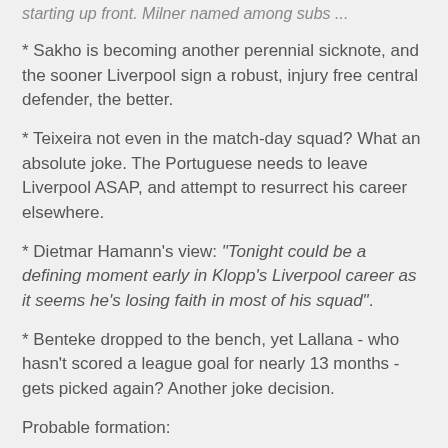starting up front. Milner named among subs ...
* Sakho is becoming another perennial sicknote, and the sooner Liverpool sign a robust, injury free central defender, the better.
* Teixeira not even in the match-day squad? What an absolute joke. The Portuguese needs to leave Liverpool ASAP, and attempt to resurrect his career elsewhere.
* Dietmar Hamann's view: "Tonight could be a defining moment early in Klopp's Liverpool career as it seems he's losing faith in most of his squad".
* Benteke dropped to the bench, yet Lallana - who hasn't scored a league goal for nearly 13 months - gets picked again? Another joke decision.
Probable formation:
-------------------- Mignolet
Clyne ------ Lovren ---- Toure --- Moreno
---------- Allen --- Lucas -- Can
------------ Coutinho -- Lallana